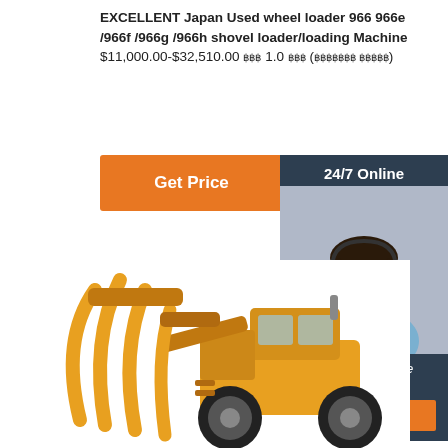EXCELLENT Japan Used wheel loader 966 966e /966f /966g /966h shovel loader/loading Machine $11,000.00-$32,510.00 ฿฿฿ 1.0 ฿฿฿ (฿฿฿฿฿฿฿ ฿฿฿฿฿)
[Figure (other): Orange 'Get Price' button]
[Figure (photo): Customer service representative with headset smiling, with '24/7 Online' header and 'Click here for free chat!' text and orange QUOTATION button, dark navy sidebar panel]
[Figure (photo): Yellow wheel loader / shovel loader machine with large grapple/claw attachment on white background]